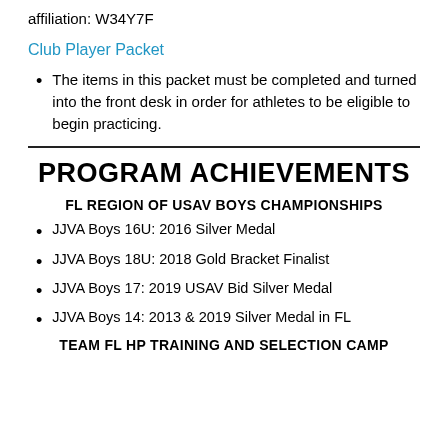affiliation: W34Y7F
Club Player Packet
The items in this packet must be completed and turned into the front desk in order for athletes to be eligible to begin practicing.
PROGRAM ACHIEVEMENTS
FL REGION OF USAV BOYS CHAMPIONSHIPS
JJVA Boys 16U: 2016 Silver Medal
JJVA Boys 18U: 2018 Gold Bracket Finalist
JJVA Boys 17: 2019 USAV Bid Silver Medal
JJVA Boys 14: 2013 & 2019 Silver Medal in FL
TEAM FL HP TRAINING AND SELECTION CAMP